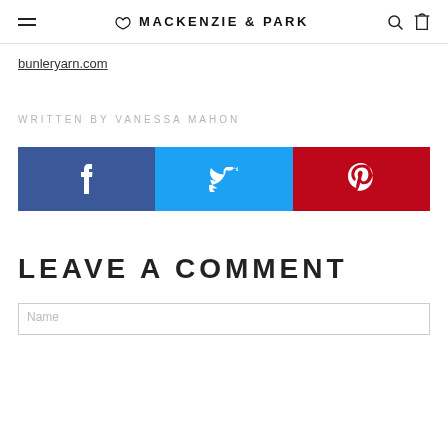MACKENZIE & PARK
bunleryarn.com
WRITTEN BY VANESSA MAHON
[Figure (infographic): Social share buttons: Facebook (blue), Twitter (cyan), Pinterest (red) with respective icons]
LEAVE A COMMENT
Name